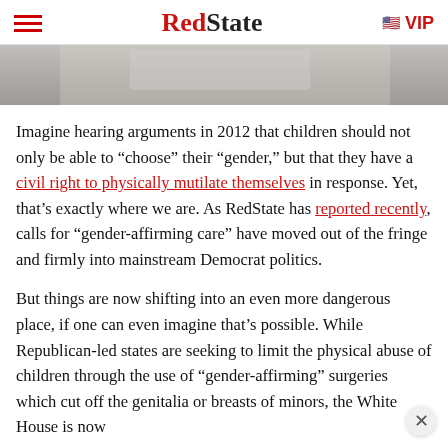RedState | VIP
[Figure (photo): Partial image showing a textured grey surface, cropped at top of article]
Imagine hearing arguments in 2012 that children should not only be able to “choose” their “gender,” but that they have a civil right to physically mutilate themselves in response. Yet, that’s exactly where we are. As RedState has reported recently, calls for “gender-affirming care” have moved out of the fringe and firmly into mainstream Democrat politics.
But things are now shifting into an even more dangerous place, if one can even imagine that’s possible. While Republican-led states are seeking to limit the physical abuse of children through the use of “gender-affirming” surgeries which cut off the genitalia or breasts of minors, the White House is now